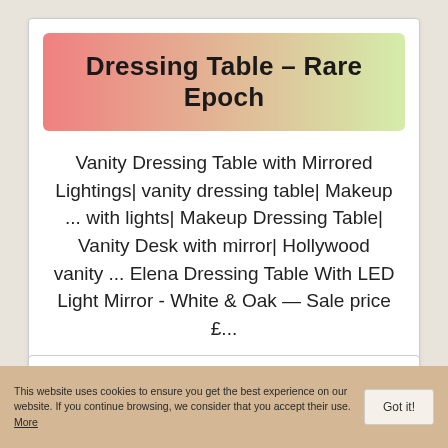Dressing Table – Rare Epoch
Vanity Dressing Table with Mirrored Lightings| vanity dressing table| Makeup ... with lights| Makeup Dressing Table| Vanity Desk with mirror| Hollywood vanity ... Elena Dressing Table With LED Light Mirror - White & Oak — Sale price £...
VIEW NOW
This website uses cookies to ensure you get the best experience on our website. If you continue browsing, we consider that you accept their use. More
Got it!